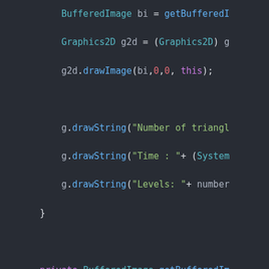[Figure (screenshot): Code editor screenshot showing Java code with syntax highlighting on a dark background. Code includes BufferedImage and Graphics2D usage, drawImage, drawString calls, a private method getBufferedImage, and drawTriangle and return statements.]